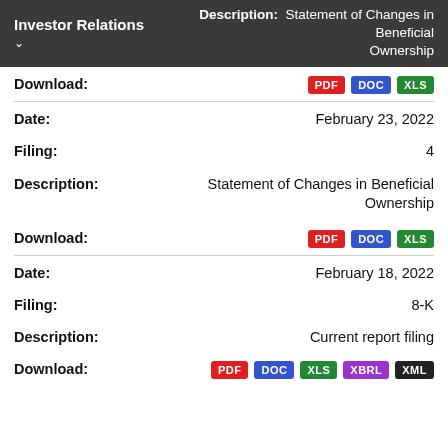Investor Relations
Description: Statement of Changes in Beneficial Ownership
Download: PDF DOC XLS
Date: February 23, 2022
Filing: 4
Description: Statement of Changes in Beneficial Ownership
Download: PDF DOC XLS
Date: February 18, 2022
Filing: 8-K
Description: Current report filing
Download: PDF DOC XLS XBRL XML